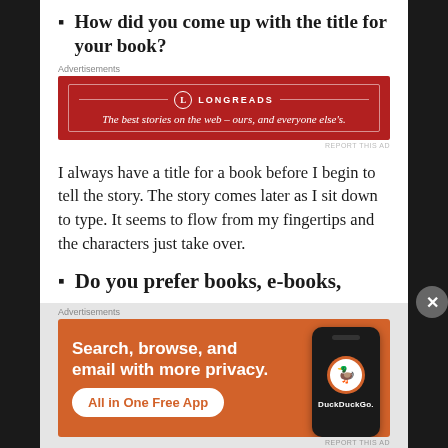How did you come up with the title for your book?
[Figure (screenshot): Longreads advertisement banner with dark red background. Shows Longreads logo and tagline: 'The best stories on the web – ours, and everyone else's.']
I always have a title for a book before I begin to tell the story. The story comes later as I sit down to type. It seems to flow from my fingertips and the characters just take over.
Do you prefer books, e-books,
[Figure (screenshot): DuckDuckGo advertisement banner with orange background. Text: 'Search, browse, and email with more privacy. All in One Free App'. Shows phone mockup with DuckDuckGo logo and brand text.]